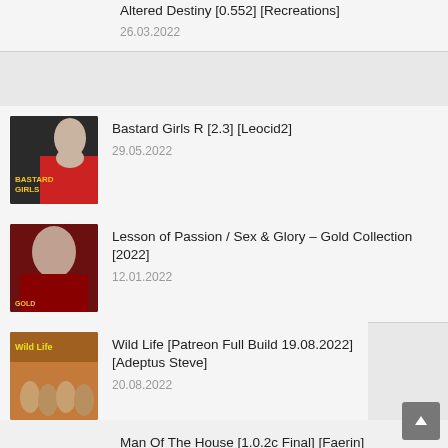Altered Destiny [0.552] [Recreations]
26.03.2022
Bastard Girls R [2.3] [Leocid2]
29.05.2022
Lesson of Passion / Sex & Glory – Gold Collection [2022]
12.01.2022
Wild Life [Patreon Full Build 19.08.2022] [Adeptus Steve]
20.08.2022
Man Of The House [1.0.2c Final] [Faerin]
02.07.2021